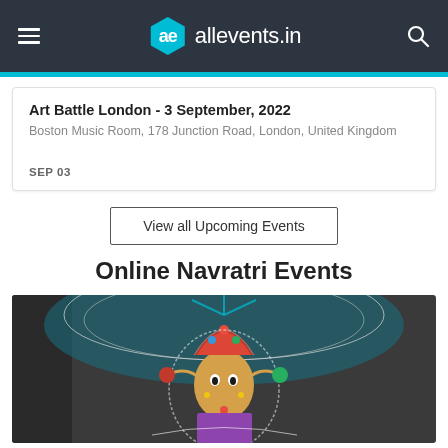allevents.in
Art Battle London - 3 September, 2022
Boston Music Room, 178 Junction Road, London, United Kingdom
SEP 03
View all Upcoming Events
Online Navratri Events
[Figure (photo): Colorful decorative Durga idol with intricate jewelry and ornaments, featuring multiple faces and elaborate headpiece with peacock feathers]